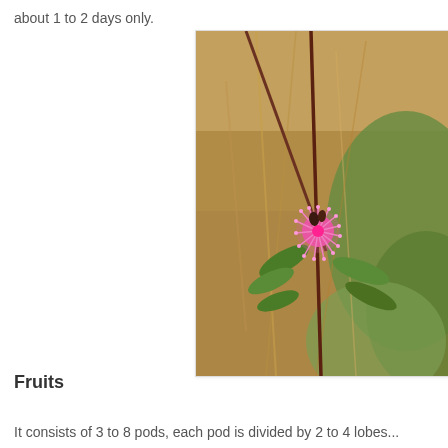about 1 to 2 days only.
[Figure (photo): Close-up photograph of a Mimosa plant showing a pink spherical flower head (pompom-like) with tiny pink filaments, surrounded by green compound leaves, against a blurred background of dry grass and greenery.]
Fruits
It consists of 3 to 8 pods, each pod is divided by 2 to 4 lobes...